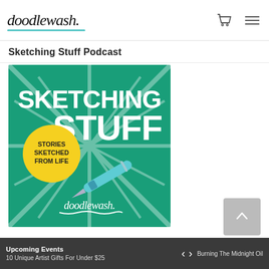doodlewash.
Sketching Stuff Podcast
[Figure (illustration): Sketching Stuff podcast cover art on a teal/green background showing large white hand-lettered text 'SKETCHING STUFF' with a yellow circle reading 'STORIES SKETCHED FROM LIFE', a illustrated fountain pen, and the doodlewash. logo at the bottom.]
Upcoming Events  |  10 Unique Artist Gifts For Under $25  |  < >  |  Burning The Midnight Oil